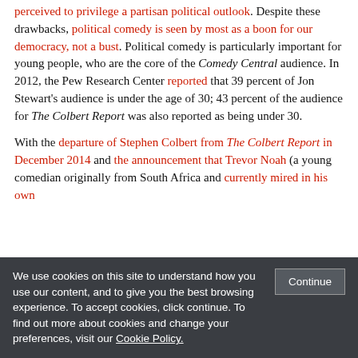perceived to privilege a partisan political outlook. Despite these drawbacks, political comedy is seen by most as a boon for our democracy, not a bust. Political comedy is particularly important for young people, who are the core of the Comedy Central audience. In 2012, the Pew Research Center reported that 39 percent of Jon Stewart's audience is under the age of 30; 43 percent of the audience for The Colbert Report was also reported as being under 30.
With the departure of Stephen Colbert from The Colbert Report in December 2014 and the announcement that Trevor Noah (a young comedian originally from South Africa and currently mired in his own
We use cookies on this site to understand how you use our content, and to give you the best browsing experience. To accept cookies, click continue. To find out more about cookies and change your preferences, visit our Cookie Policy.